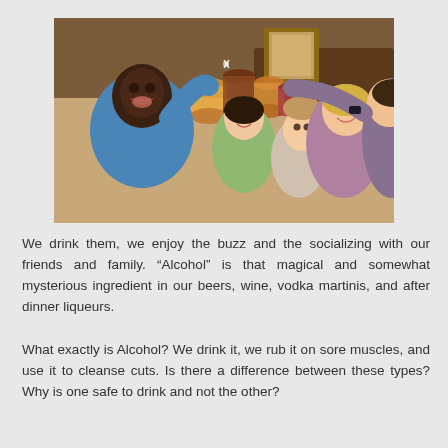[Figure (photo): Group of friends smiling and clinking beer glasses together in a bar/pub setting, toasting with various drinks.]
We drink them, we enjoy the buzz and the socializing with our friends and family.  “Alcohol” is that magical and somewhat mysterious ingredient in our beers, wine, vodka martinis, and after dinner liqueurs.
What exactly is Alcohol?  We drink it, we rub it on sore muscles, and use it to cleanse cuts.  Is there a difference between these types?  Why is one safe to drink and not the other?